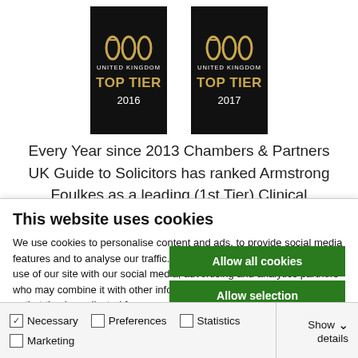[Figure (logo): Two award badge logos side by side, both black background with gold text reading TOP TIER, UNITED KINGDOM, years 2016 and 2017]
Every Year since 2013 Chambers & Partners UK Guide to Solicitors has ranked Armstrong Foulkes as a leading (1st Tier) Clinical Negligence firm. We have also...
This website uses cookies
We use cookies to personalise content and ads, to provide social media features and to analyse our traffic. We also share information about your use of our site with our social media, advertising and analytics partners who may combine it with other information that you've provided to them or that they've collected from your use of their services.
Allow all cookies
Allow selection
Use necessary cookies only
Necessary   Preferences   Statistics   Marketing   Show details